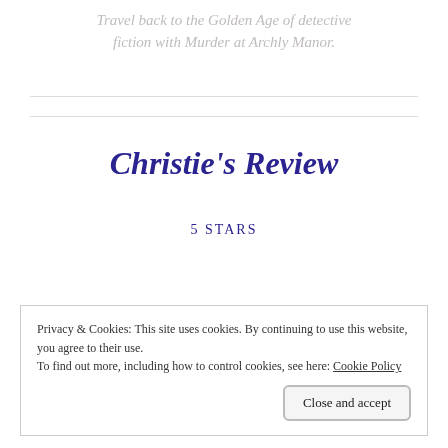Travel back to the Golden Age of detective fiction with Murder at Archly Manor.
Christie's Review
5 STARS
Privacy & Cookies: This site uses cookies. By continuing to use this website, you agree to their use.
To find out more, including how to control cookies, see here: Cookie Policy
Close and accept